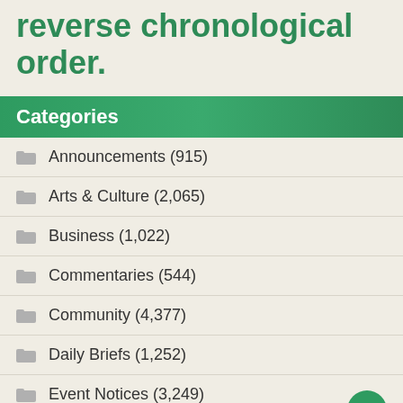reverse chronological order.
Categories
Announcements (915)
Arts & Culture (2,065)
Business (1,022)
Commentaries (544)
Community (4,377)
Daily Briefs (1,252)
Event Notices (3,249)
Featured (1,988)
Food & Drink (912)